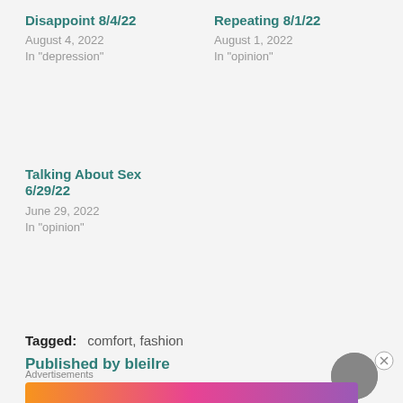Disappoint 8/4/22
August 4, 2022
In "depression"
Repeating 8/1/22
August 1, 2022
In "opinion"
Talking About Sex 6/29/22
June 29, 2022
In "opinion"
Tagged: comfort, fashion
Published by bleilre
[Figure (infographic): Fandom on Tumblr advertisement banner with orange to purple gradient]
Advertisements